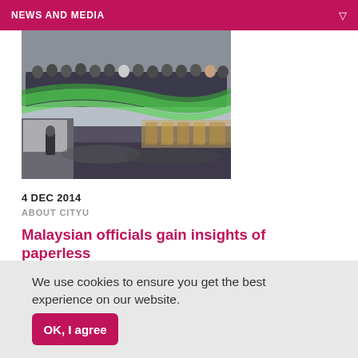NEWS AND MEDIA
[Figure (photo): Group photo of officials standing on a stage at a conference hall, with green ribbon decorations and an auditorium audience below]
4 DEC 2014
ABOUT CITYU
Malaysian officials gain insights of paperless
We use cookies to ensure you get the best experience on our website.
OK, I agree